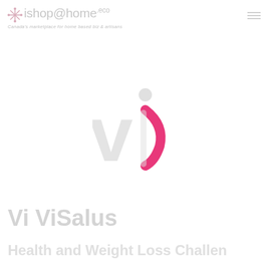ishop@home.eco — Canada's marketplace for home based biz & artisans
[Figure (logo): Vi ViSalus brand logo — large stylized 'vi' letters in light gray with a pink circular accent and dot above, centered on the page]
Vi ViSalus
Health and Weight Loss Challen...